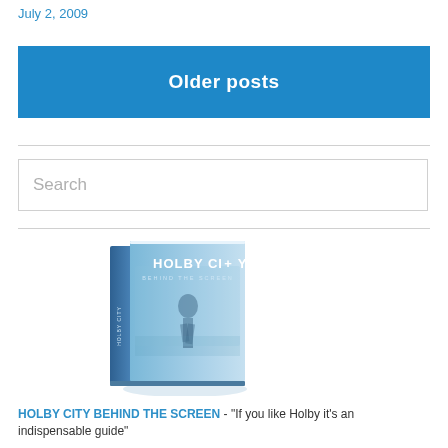July 2, 2009
Older posts
Search
[Figure (photo): Book cover of 'Holby City Behind the Screen' showing a person walking in a hospital corridor, blue-toned cover with the title HOLBY CITY and subtitle BEHIND THE SCREEN]
HOLBY CITY BEHIND THE SCREEN - "If you like Holby it's an indispensable guide"